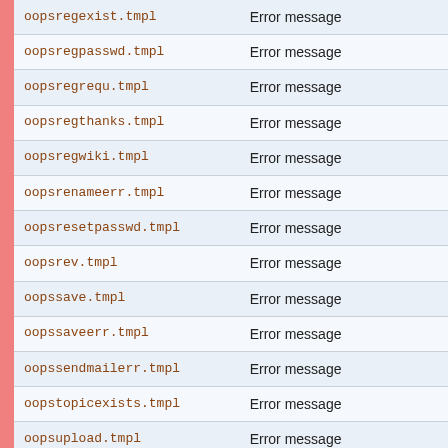| Filename | Description |
| --- | --- |
| oopsregexist.tmpl | Error message |
| oopsregpasswd.tmpl | Error message |
| oopsregrequ.tmpl | Error message |
| oopsregthanks.tmpl | Error message |
| oopsregwiki.tmpl | Error message |
| oopsrenameerr.tmpl | Error message |
| oopsresetpasswd.tmpl | Error message |
| oopsrev.tmpl | Error message |
| oopssave.tmpl | Error message |
| oopssaveerr.tmpl | Error message |
| oopssendmailerr.tmpl | Error message |
| oopstopicexists.tmpl | Error message |
| oopsupload.tmpl | Error message |
| oopswrongpassword.tmpl | Error message |
| preview.tmpl | Preview Changes screen |
| rdiff.tmpl | Displays text changes before |